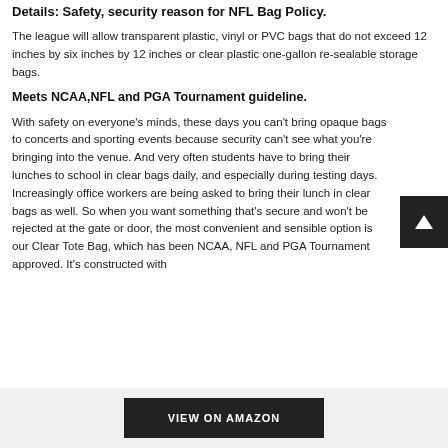Details: Safety, security reason for NFL Bag Policy.
The league will allow transparent plastic, vinyl or PVC bags that do not exceed 12 inches by six inches by 12 inches or clear plastic one-gallon re-sealable storage bags.
Meets NCAA,NFL and PGA Tournament guideline.
With safety on everyone's minds, these days you can't bring opaque bags to concerts and sporting events because security can't see what you're bringing into the venue. And very often students have to bring their lunches to school in clear bags daily, and especially during testing days. Increasingly office workers are being asked to bring their lunch in clear bags as well. So when you want something that's secure and won't be rejected at the gate or door, the most convenient and sensible option is our Clear Tote Bag, which has been NCAA, NFL and PGA Tournament approved. It's constructed with
VIEW ON AMAZON